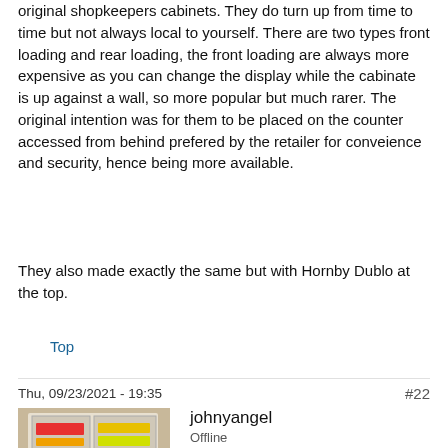original shopkeepers cabinets. They do turn up from time to time but not always local to yourself. There are two types front loading and rear loading, the front loading are always more expensive as you can change the display while the cabinate is up against a wall, so more popular but much rarer. The original intention was for them to be placed on the counter accessed from behind prefered by the retailer for conveience and security, hence being more available.
They also made exactly the same but with Hornby Dublo at the top.
Top
Thu, 09/23/2021 - 19:35
#22
johnyangel
Offline
[Figure (photo): Profile photo of user johnyangel standing in front of a shop display with model railway items]